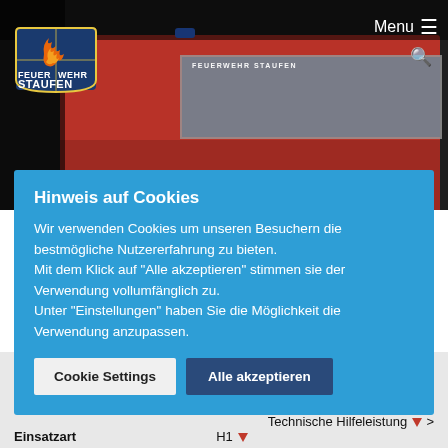[Figure (screenshot): Screenshot of Feuerwehr Staufen website showing a fire truck in the background header, the Feuerwehr Staufen logo on the left, and Menu with hamburger icon on the top right.]
Hinweis auf Cookies
Wir verwenden Cookies um unseren Besuchern die bestmögliche Nutzererfahrung zu bieten. Mit dem Klick auf "Alle akzeptieren" stimmen sie der Verwendung vollumfänglich zu. Unter "Einstellungen" haben Sie die Möglichkeit die Verwendung anzupassen.
Cookie Settings
Alle akzeptieren
Einsatzort
Alarmierungszeitpunkt 13. Juni 2022 18:03
Einsatzdauer 32 Minuten
Einsatzart Technische Hilfeleistung > H1